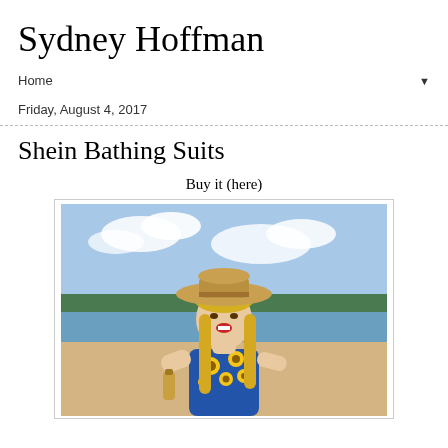Sydney Hoffman
Home ▼
Friday, August 4, 2017
Shein Bathing Suits
Buy it (here)
[Figure (photo): A young blonde woman laughing outdoors wearing a wide-brim straw hat and a sunflower-print one-piece bathing suit, holding a bottle, at a beach or lakeside with water and trees in the background.]